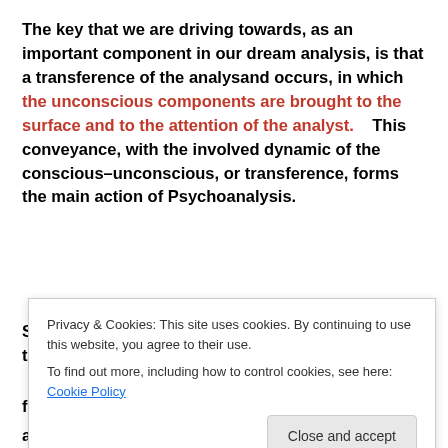The key that we are driving towards, as an important component in our dream analysis, is that a transference of the analysand occurs, in which the unconscious components are brought to the surface and to the attention of the analyst.    This conveyance, with the involved dynamic of the conscious–unconscious, or transference, forms the main action of Psychoanalysis.
S.H. Goldberg (Textbook, ch. 5, 2012) discusses the following definitions and conceptions of transference...
a boundary concept linking.
Privacy & Cookies: This site uses cookies. By continuing to use this website, you agree to their use.
To find out more, including how to control cookies, see here: Cookie Policy